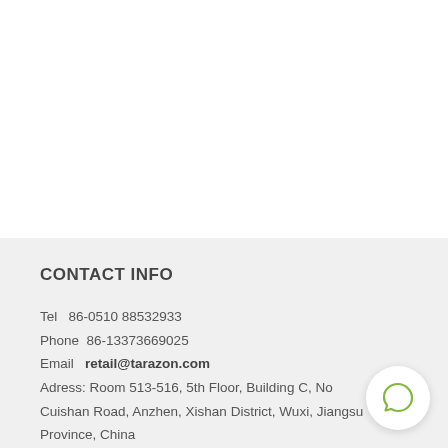CONTACT INFO
Tel   86-0510 88532933
Phone  86-13373669025
Email   retail@tarazon.com
Adress: Room 513-516, 5th Floor, Building C, No. Cuishan Road, Anzhen, Xishan District, Wuxi, Jiangsu Province, China
[Figure (illustration): Green speech/chat bubble icon inside a white circular button]